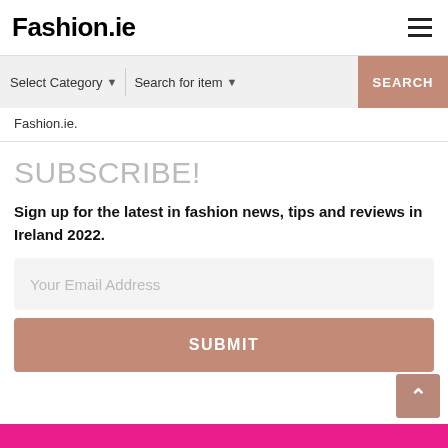Fashion.ie
Select Category   Search for item   SEARCH
Fashion.ie.
SUBSCRIBE!
Sign up for the latest in fashion news, tips and reviews in Ireland 2022.
Your Email Address
SUBMIT